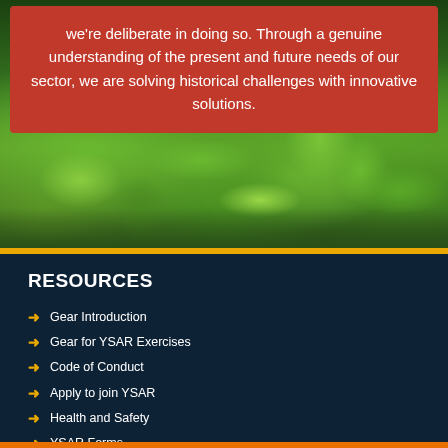[Figure (photo): Lush green forest/fern vegetation background photo with dense tropical foliage]
we're deliberate in doing so. Through a genuine understanding of the present and future needs of our sector, we are solving historical challenges with innovative solutions.
RESOURCES
Gear Introduction
Gear for YSAR Exercises
Code of Conduct
Apply to join YSAR
Health and Safety
YSAR Forms
Work in YSAR